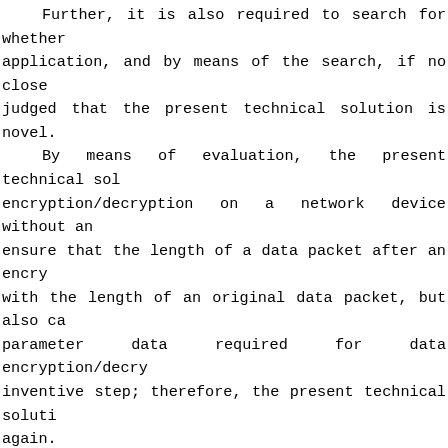Further, it is also required to search for whether application, and by means of the search, if no close judged that the present technical solution is novel. By means of evaluation, the present technical sol encryption/decryption on a network device without an ensure that the length of a data packet after an encry with the length of an original data packet, but also ca parameter data required for data encryption/decry inventive step; therefore, the present technical soluti again. ②With regard to the technical solution application. First of all, an application scenario of performing device without an IP address and a MAC address is claims can be laid out, and the system independent cla